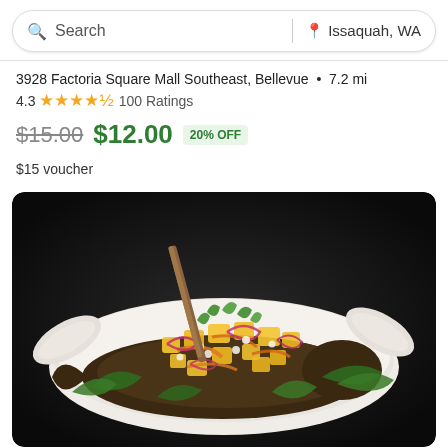Search | Issaquah, WA
3928 Factoria Square Mall Southeast, Bellevue • 7.2 mi
4.3 ★★★★½ 100 Ratings
$15.00 $12.00 20% OFF
$15 voucher
[Figure (photo): A whole fried fish served on a white boat-shaped platter, topped with colorful tropical salsa including diced pineapple, sliced red onions, shredded carrots, corn, herbs and greens, on a dark background.]